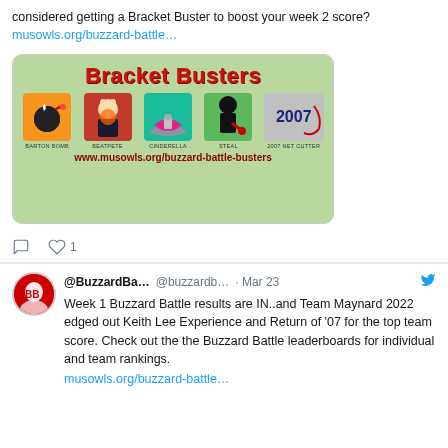considered getting a Bracket Buster to boost your week 2 score? musowls.org/buzzard-battle…
[Figure (illustration): Bracket Busters promotional image showing five icons: Barton Bomb, BeatPete, Cinderella, Steal, 2007 Net Cutter, with URL www.musowls.org/buzzard-battle-busters]
@BuzzardBa… @buzzardb… · Mar 23 — Week 1 Buzzard Battle results are IN..and Team Maynard 2022 edged out Keith Lee Experience and Return of '07 for the top team score. Check out the the Buzzard Battle leaderboards for individual and team rankings. musowls.org/buzzard-battle…